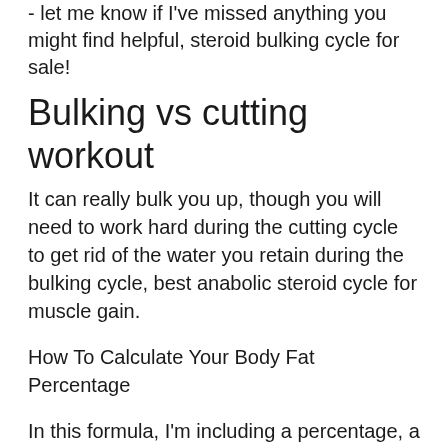- let me know if I've missed anything you might find helpful, steroid bulking cycle for sale!
Bulking vs cutting workout
It can really bulk you up, though you will need to work hard during the cutting cycle to get rid of the water you retain during the bulking cycle, best anabolic steroid cycle for muscle gain.
How To Calculate Your Body Fat Percentage
In this formula, I'm including a percentage, a percentage of your body weight, and some formulas for calculating a percent of your body weight for both fat and muscle, bodybuilding bulking nuts. For example, if your lean body mass is 100% of your total body mass, your body fat percentage is...